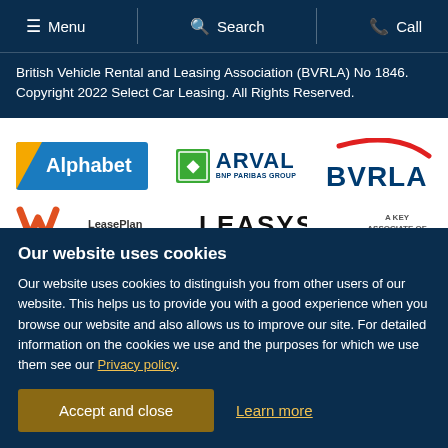Menu | Search | Call
British Vehicle Rental and Leasing Association (BVRLA) No 1846. Copyright 2022 Select Car Leasing. All Rights Reserved.
[Figure (logo): Alphabet logo (blue background with yellow triangle and white text)]
[Figure (logo): ARVAL BNP Paribas Group logo (green square icon with blue text)]
[Figure (logo): BVRLA logo (blue bold text with red swoosh arc)]
[Figure (logo): LeasePlan logo (orange/red W shape with text)]
[Figure (logo): LEASYS logo (black text)]
[Figure (logo): A KEY ASSOCIATE OF logo (partial)]
Our website uses cookies

Our website uses cookies to distinguish you from other users of our website. This helps us to provide you with a good experience when you browse our website and also allows us to improve our site. For detailed information on the cookies we use and the purposes for which we use them see our Privacy policy.
Accept and close
Learn more